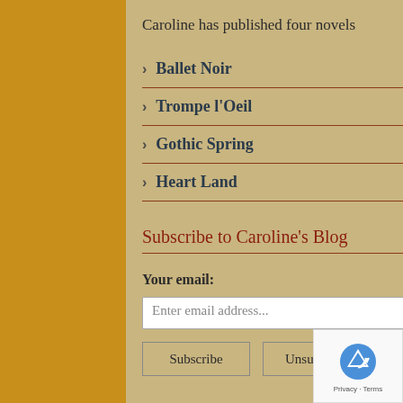Caroline has published four novels
Ballet Noir
Trompe l'Oeil
Gothic Spring
Heart Land
Subscribe to Caroline's Blog
Your email:
Enter email address...
Subscribe | Unsubscribe